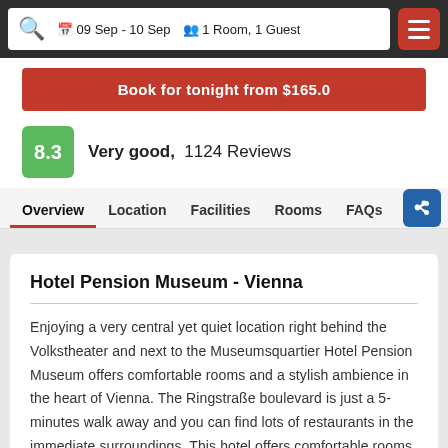09 Sep - 10 Sep  1 Room, 1 Guest
Book for tonight from $165.0
8.3  Very good,  1124 Reviews
Overview  Location  Facilities  Rooms  FAQs
Hotel Pension Museum - Vienna
Enjoying a very central yet quiet location right behind the Volkstheater and next to the Museumsquartier Hotel Pension Museum offers comfortable rooms and a stylish ambience in the heart of Vienna. The Ringstraße boulevard is just a 5-minutes walk away and you can find lots of restaurants in the immediate surroundings. This hotel offers comfortable rooms with modern bathrooms